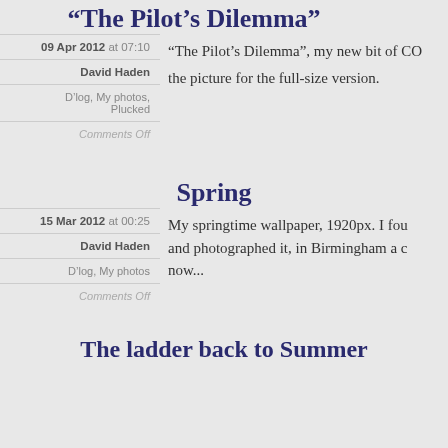“The Pilot’s Dilemma”
“The Pilot’s Dilemma”, my new bit of CO... the picture for the full-size version.
09 Apr 2012 at 07:10
David Haden
D’log, My photos, Plucked
Comments Off
Spring
My springtime wallpaper, 1920px. I fou... and photographed it, in Birmingham a c... now...
15 Mar 2012 at 00:25
David Haden
D’log, My photos
Comments Off
The ladder back to Summer